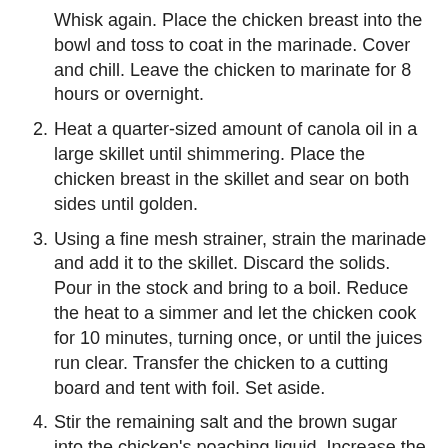Whisk again. Place the chicken breast into the bowl and toss to coat in the marinade. Cover and chill. Leave the chicken to marinate for 8 hours or overnight.
2. Heat a quarter-sized amount of canola oil in a large skillet until shimmering. Place the chicken breast in the skillet and sear on both sides until golden.
3. Using a fine mesh strainer, strain the marinade and add it to the skillet. Discard the solids. Pour in the stock and bring to a boil. Reduce the heat to a simmer and let the chicken cook for 10 minutes, turning once, or until the juices run clear. Transfer the chicken to a cutting board and tent with foil. Set aside.
4. Stir the remaining salt and the brown sugar into the chicken's poaching liquid. Increase the heat and bring the mixture to a boil.
5. In a small bowl whisk to combine the cornstarch and water. Pour the mixture into the boiling poaching liquid. Cook until the mixture is thick enough to coat the back